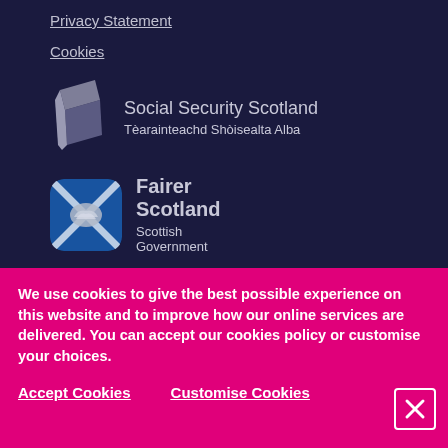Privacy Statement
Cookies
[Figure (logo): Social Security Scotland logo — stylised folded paper flag icon in grey, with text 'Social Security Scotland' and Gaelic subtitle 'Tèarainteachd Shòisealta Alba']
[Figure (logo): Fairer Scotland Scottish Government logo — rounded square badge with Scottish saltire and handshake, with text 'Fairer Scotland' and 'Scottish Government']
We use cookies to give the best possible experience on this website and to improve how our online services are delivered. You can accept our cookies policy or customise your choices.
Accept Cookies
Customise Cookies